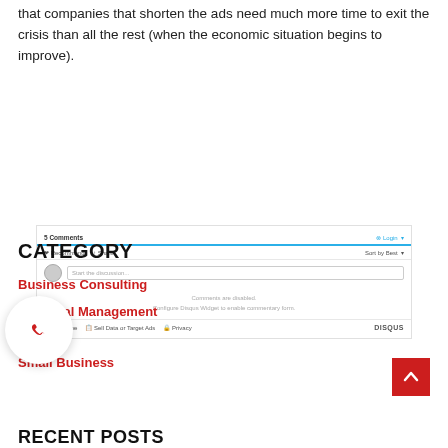that companies that shorten the ads need much more time to exit the crisis than all the rest (when the economic situation begins to improve).
[Figure (screenshot): Disqus comments widget showing 5 comments, login button, sort by best option, avatar, comment input field with placeholder text, disabled message reading 'Comments are disabled. Configure Disqus Widget to enable commentary form.', subscribe, sell data or target ads, privacy links, and DISQUS branding.]
CATEGORY
Business Consulting
Financial Management
News
Small Business
RECENT POSTS